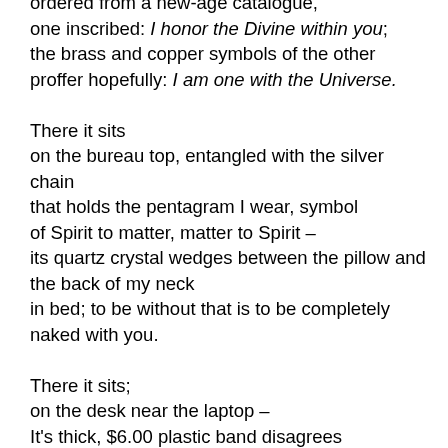ordered from a new-age catalogue,
one inscribed: I honor the Divine within you;
the brass and copper symbols of the other
proffer hopefully: I am one with the Universe.

There it sits
on the bureau top, entangled with the silver chain
that holds the pentagram I wear, symbol
of Spirit to matter, matter to Spirit –
its quartz crystal wedges between the pillow and the back of my neck
in bed; to be without that is to be completely naked with you.

There it sits;
on the desk near the laptop –
It's thick, $6.00 plastic band disagrees
with laptop keys lined up tightly like peas
in a pod. I take it off;
my right wrist breathes a sigh of relief. Now I